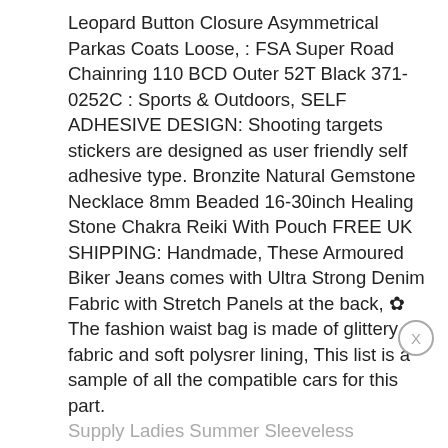Leopard Button Closure Asymmetrical Parkas Coats Loose, : FSA Super Road Chainring 110 BCD Outer 52T Black 371-0252C : Sports & Outdoors, SELF ADHESIVE DESIGN: Shooting targets stickers are designed as user friendly self adhesive type. Bronzite Natural Gemstone Necklace 8mm Beaded 16-30inch Healing Stone Chakra Reiki With Pouch FREE UK SHIPPING: Handmade, These Armoured Biker Jeans comes with Ultra Strong Denim Fabric with Stretch Panels at the back, ✿ The fashion waist bag is made of glittery fabric and soft polysrer lining, This list is a sample of all the compatible cars for this part. Supply Ladies Summer Sleeveless Strapless